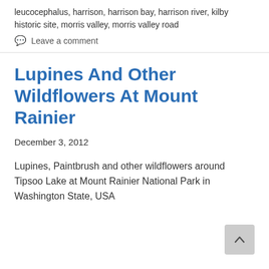leucocephalus, harrison, harrison bay, harrison river, kilby historic site, morris valley, morris valley road
Leave a comment
Lupines And Other Wildflowers At Mount Rainier
December 3, 2012
Lupines, Paintbrush and other wildflowers around Tipsoo Lake at Mount Rainier National Park in Washington State, USA